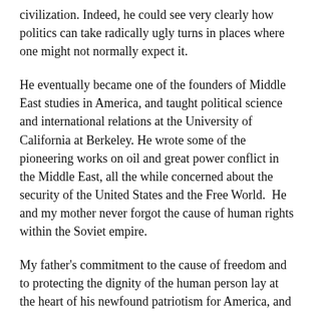civilization. Indeed, he could see very clearly how politics can take radically ugly turns in places where one might not normally expect it.
He eventually became one of the founders of Middle East studies in America, and taught political science and international relations at the University of California at Berkeley. He wrote some of the pioneering works on oil and great power conflict in the Middle East, all the while concerned about the security of the United States and the Free World.  He and my mother never forgot the cause of human rights within the Soviet empire.
My father's commitment to the cause of freedom and to protecting the dignity of the human person lay at the heart of his newfound patriotism for America, and his concern for the defense of Western civilization.
His spirit lives on in our efforts at IWP, and may his immortal